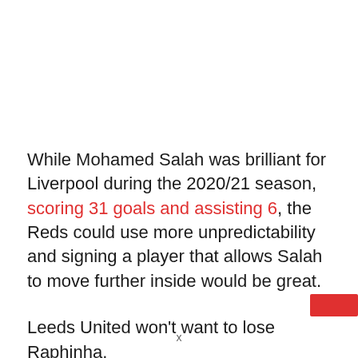While Mohamed Salah was brilliant for Liverpool during the 2020/21 season, scoring 31 goals and assisting 6, the Reds could use more unpredictability and signing a player that allows Salah to move further inside would be great.
Leeds United won't want to lose Raphinha.